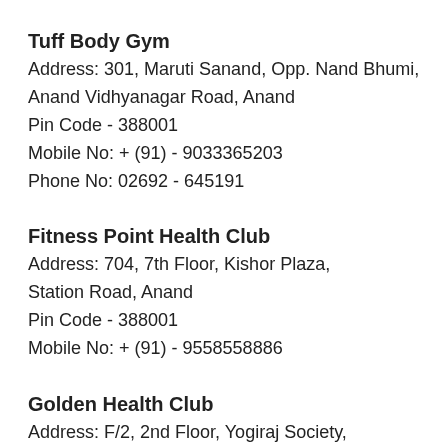Tuff Body Gym
Address: 301, Maruti Sanand, Opp. Nand Bhumi, Anand Vidhyanagar Road, Anand
Pin Code - 388001
Mobile No: + (91) - 9033365203
Phone No: 02692 - 645191
Fitness Point Health Club
Address: 704, 7th Floor, Kishor Plaza, Station Road, Anand
Pin Code - 388001
Mobile No: + (91) - 9558558886
Golden Health Club
Address: F/2, 2nd Floor, Yogiraj Society, Near Mahadev Temple